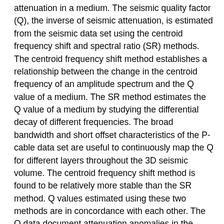attenuation in a medium. The seismic quality factor (Q), the inverse of seismic attenuation, is estimated from the seismic data set using the centroid frequency shift and spectral ratio (SR) methods. The centroid frequency shift method establishes a relationship between the change in the centroid frequency of an amplitude spectrum and the Q value of a medium. The SR method estimates the Q value of a medium by studying the differential decay of different frequencies. The broad bandwidth and short offset characteristics of the P-cable data set are useful to continuously map the Q for different layers throughout the 3D seismic volume. The centroid frequency shift method is found to be relatively more stable than the SR method. Q values estimated using these two methods are in concordance with each other. The Q data document attenuation anomalies in the layers in the gas hydrate stability zone above the bottom-simulating reflection (BSR) and in the free gas zone below. Changes in the attenuation anomalies correlate with small-scale fault systems in the Vestnesa Ridge suggesting a strong structural control on the distribution of free gas and gas hydrates in the region. We argued that high and spatially limited Q anomalies in the layer above the BSR indicate the presence of gas hydrates in marine sediments in this setting. Hence, our workflow to analyze Q using high-resolution P-cable 3D seismic data with a large bandwidth is a complement to the seismic data analysis.